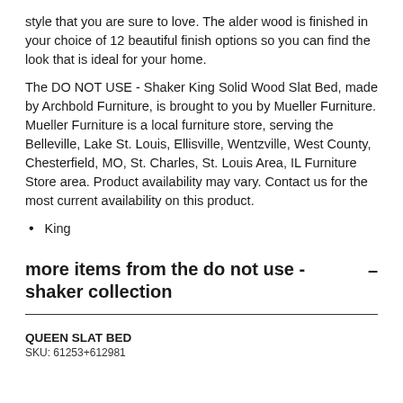style that you are sure to love. The alder wood is finished in your choice of 12 beautiful finish options so you can find the look that is ideal for your home.
The DO NOT USE - Shaker King Solid Wood Slat Bed, made by Archbold Furniture, is brought to you by Mueller Furniture. Mueller Furniture is a local furniture store, serving the Belleville, Lake St. Louis, Ellisville, Wentzville, West County, Chesterfield, MO, St. Charles, St. Louis Area, IL Furniture Store area. Product availability may vary. Contact us for the most current availability on this product.
King
more items from the do not use - shaker collection
QUEEN SLAT BED
SKU: 61253+612981